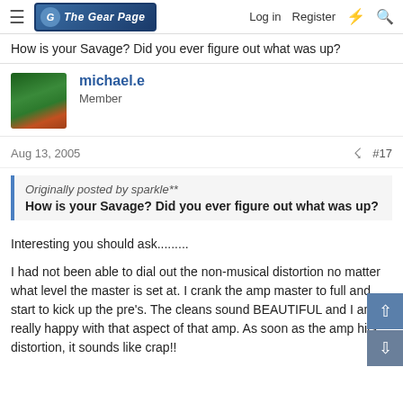The Gear Page — Log in | Register
How is your Savage? Did you ever figure out what was up?
michael.e
Member
Aug 13, 2005  #17
Originally posted by sparkle**
How is your Savage? Did you ever figure out what was up?
Interesting you should ask..........
I had not been able to dial out the non-musical distortion no matter what level the master is set at. I crank the amp master to full and start to kick up the pre's. The cleans sound BEAUTIFUL and I am really happy with that aspect of that amp. As soon as the amp hits distortion, it sounds like crap!!